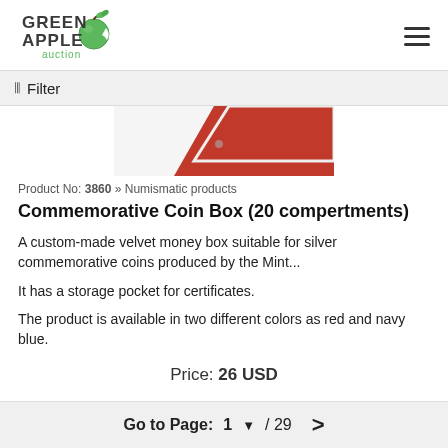[Figure (logo): Green Apple Auction logo with apple graphic and green text]
Filter
[Figure (photo): Partial image of a red commemorative coin box]
Product No: 3860 » Numismatic products
Commemorative Coin Box (20 compertments)
A custom-made velvet money box suitable for silver commemorative coins produced by the Mint...
It has a storage pocket for certificates.
The product is available in two different colors as red and navy blue.
Price: 26 USD
Go to Page: 1 ▼ / 29 >